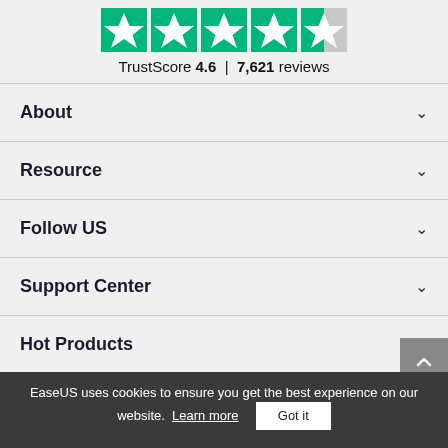[Figure (other): Trustpilot star rating graphic showing 4.5 out of 5 green stars with the text TrustScore 4.6 | 7,621 reviews]
About
Resource
Follow US
Support Center
Hot Products
EaseUS uses cookies to ensure you get the best experience on our website. Learn more Got it